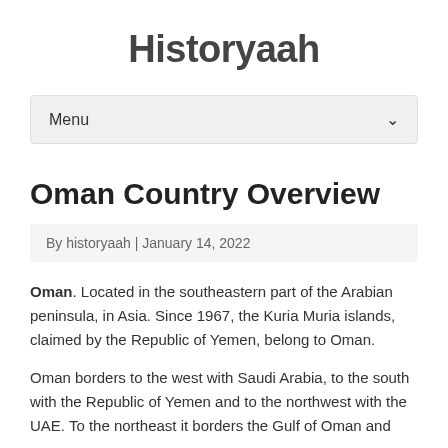Historyaah
Menu
Oman Country Overview
By historyaah | January 14, 2022
Oman. Located in the southeastern part of the Arabian peninsula, in Asia. Since 1967, the Kuria Muria islands, claimed by the Republic of Yemen, belong to Oman.
Oman borders to the west with Saudi Arabia, to the south with the Republic of Yemen and to the northwest with the UAE. To the northeast it borders the Gulf of Oman and